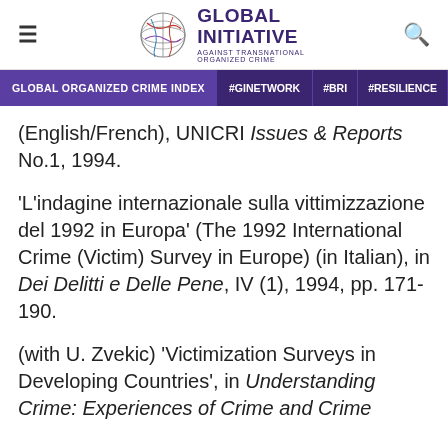Global Initiative Against Transnational Organized Crime
GLOBAL ORGANIZED CRIME INDEX | #GINETWORK | #BRI | #RESILIENCE
(English/French), UNICRI Issues & Reports No.1, 1994.
'L'indagine internazionale sulla vittimizzazione del 1992 in Europa' (The 1992 International Crime (Victim) Survey in Europe) (in Italian), in Dei Delitti e Delle Pene, IV (1), 1994, pp. 171-190.
(with U. Zvekic) 'Victimization Surveys in Developing Countries', in Understanding Crime: Experiences of Crime and Crime